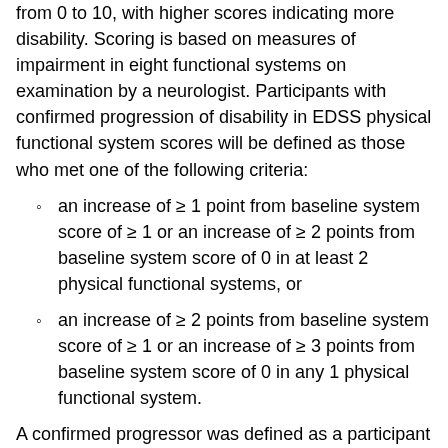from 0 to 10, with higher scores indicating more disability. Scoring is based on measures of impairment in eight functional systems on examination by a neurologist. Participants with confirmed progression of disability in EDSS physical functional system scores will be defined as those who met one of the following criteria:
an increase of ≥ 1 point from baseline system score of ≥ 1 or an increase of ≥ 2 points from baseline system score of 0 in at least 2 physical functional systems, or
an increase of ≥ 2 points from baseline system score of ≥ 1 or an increase of ≥ 3 points from baseline system score of 0 in any 1 physical functional system.
A confirmed progressor was defined as a participant who met the criteria for disability progression at any given visit and at the 6-Month Confirmation Visit. The 95% CIs are based on normal approximation